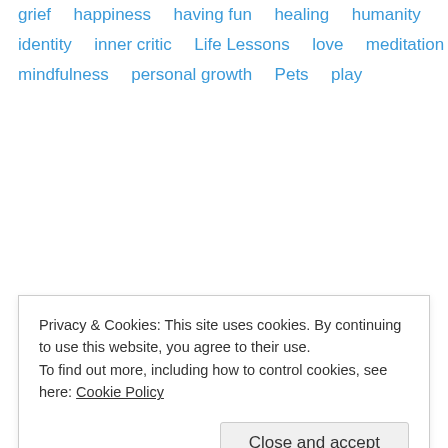grief
happiness
having fun
healing
humanity
identity
inner critic
Life Lessons
love
meditation
mindfulness
personal growth
Pets
play
self-esteem
Privacy & Cookies: This site uses cookies. By continuing to use this website, you agree to their use. To find out more, including how to control cookies, see here: Cookie Policy
Close and accept